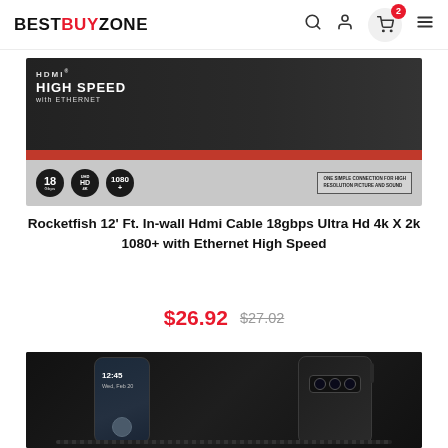BESTBUYZONE
[Figure (photo): Rocketfish HDMI cable product box showing HIGH SPEED with ETHERNET, 18Gbps, UHD HD, 1080+ badges on dark and silver packaging with red stripe]
Rocketfish 12' Ft. In-wall Hdmi Cable 18gbps Ultra Hd 4k X 2k 1080+ with Ethernet High Speed
$26.92  $27.02
[Figure (photo): Black rugged phone case for Samsung Galaxy S10 shown from front and back angles]